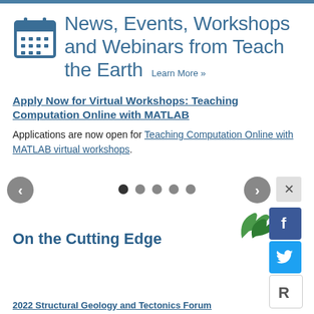News, Events, Workshops and Webinars from Teach the Earth
Learn More »
Apply Now for Virtual Workshops: Teaching Computation Online with MATLAB
Applications are now open for Teaching Computation Online with MATLAB virtual workshops.
2022 Structural Geology and Tectonics Forum
On the Cutting Edge